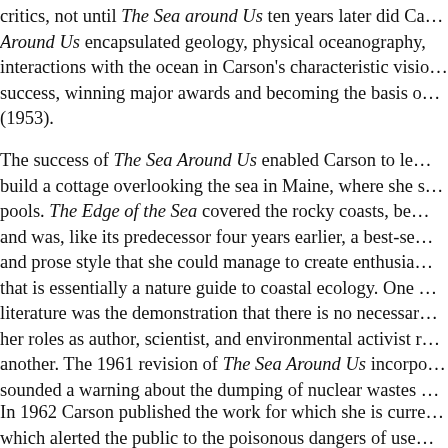critics, not until The Sea around Us ten years later did Ca... Around Us encapsulated geology, physical oceanography, interactions with the ocean in Carson's characteristic visio... success, winning major awards and becoming the basis o... (1953).
The success of The Sea Around Us enabled Carson to le... build a cottage overlooking the sea in Maine, where she s... pools. The Edge of the Sea covered the rocky coasts, be... and was, like its predecessor four years earlier, a best-se... and prose style that she could manage to create enthusia... that is essentially a nature guide to coastal ecology. One ... literature was the demonstration that there is no necessar... her roles as author, scientist, and environmental activist r... another. The 1961 revision of The Sea Around Us incorpo... sounded a warning about the dumping of nuclear wastes ...
In 1962 Carson published the work for which she is curre... which alerted the public to the poisonous dangers of use...